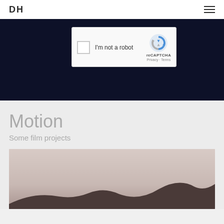DH
[Figure (screenshot): reCAPTCHA widget with checkbox and 'I'm not a robot' text on a dark navy background]
Motion
Some film projects
[Figure (photo): Landscape photo with muted pink/beige sky and dark mountain silhouette at the bottom]